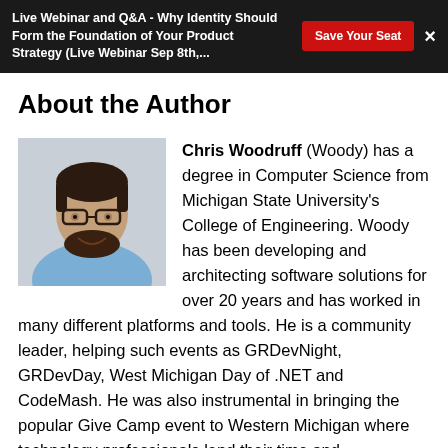Live Webinar and Q&A - Why Identity Should Form the Foundation of Your Product Strategy (Live Webinar Sep 8th,...
About the Author
[Figure (photo): Headshot photo of Chris Woodruff (Woody), a man with dark hair, beard, and glasses, wearing a light blue shirt]
Chris Woodruff (Woody) has a degree in Computer Science from Michigan State University's College of Engineering. Woody has been developing and architecting software solutions for over 20 years and has worked in many different platforms and tools. He is a community leader, helping such events as GRDevNight, GRDevDay, West Michigan Day of .NET and CodeMash. He was also instrumental in bringing the popular Give Camp event to Western Michigan where technology professionals lend their time and development